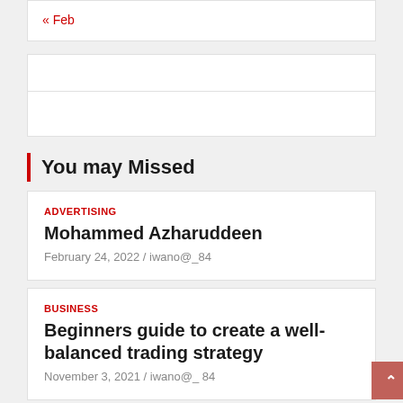« Feb
You may Missed
ADVERTISING
Mohammed Azharuddeen
February 24, 2022 / iwano@_84
BUSINESS
Beginners guide to create a well-balanced trading strategy
November 3, 2021 / iwano@_84